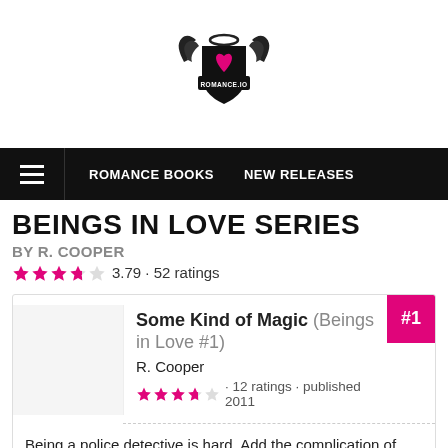[Figure (logo): Romance.io logo — a winged heart shield emblem with text ROMANCE.IO]
ROMANCE BOOKS   NEW RELEASES
BEINGS IN LOVE SERIES
BY R. COOPER
3.79 · 52 ratings
Some Kind of Magic (Beings in Love #1) R. Cooper · 12 ratings · published 2011 #1
Being a police detective is hard. Add the complication of being a werewolf subject to human prejudice, and you might say Ray Ponnigan has his work cut out for